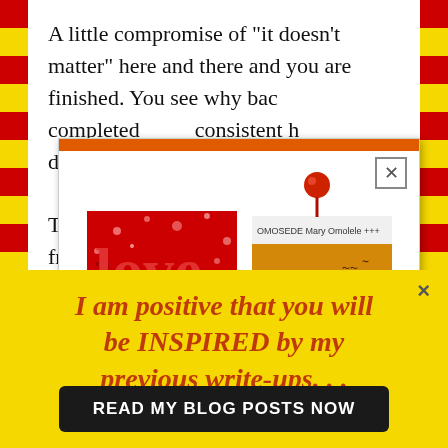A little compromise of "it doesn't matter" here and there and you are finished. You see why bac... completed ... consistent h... deadly poin...
[Figure (illustration): Popup advertisement showing two book covers: 'Love Like No Other' (red cover with hearts) and a second book by Mary Omolele, with an orange top bar and close button]
This is a ca... from that d...
[Figure (infographic): Yellow banner ad with red italic bold text: 'I am positive that you will be INSPIRED by my previous write-ups...' and a dark button labeled 'READ MY BLOG POSTS NOW']